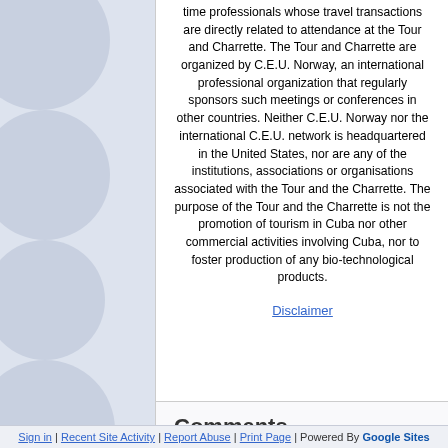time professionals whose travel transactions are directly related to attendance at the Tour and Charrette. The Tour and Charrette are organized by C.E.U. Norway, an international professional organization that regularly sponsors such meetings or conferences in other countries. Neither C.E.U. Norway nor the international C.E.U. network is headquartered in the United States, nor are any of the institutions, associations or organisations associated with the Tour and the Charrette. The purpose of the Tour and the Charrette is not the promotion of tourism in Cuba nor other commercial activities involving Cuba, nor to foster production of any bio-technological products.
Disclaimer
Comments
Sign in | Recent Site Activity | Report Abuse | Print Page | Powered By Google Sites